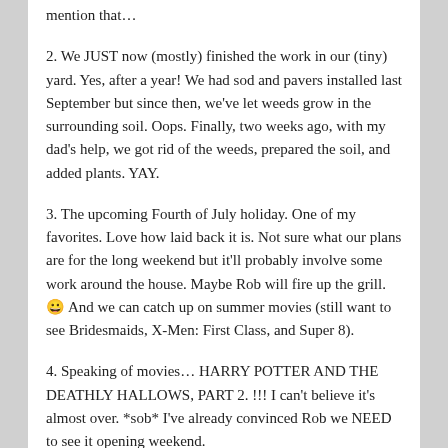mention that…
2. We JUST now (mostly) finished the work in our (tiny) yard. Yes, after a year! We had sod and pavers installed last September but since then, we've let weeds grow in the surrounding soil. Oops. Finally, two weeks ago, with my dad's help, we got rid of the weeds, prepared the soil, and added plants. YAY.
3. The upcoming Fourth of July holiday. One of my favorites. Love how laid back it is. Not sure what our plans are for the long weekend but it'll probably involve some work around the house. Maybe Rob will fire up the grill. 😀 And we can catch up on summer movies (still want to see Bridesmaids, X-Men: First Class, and Super 8).
4. Speaking of movies… HARRY POTTER AND THE DEATHLY HALLOWS, PART 2. !!! I can't believe it's almost over. *sob* I've already convinced Rob we NEED to see it opening weekend.
5. Two weddings and a baby shower. 🙂 I'm going to be